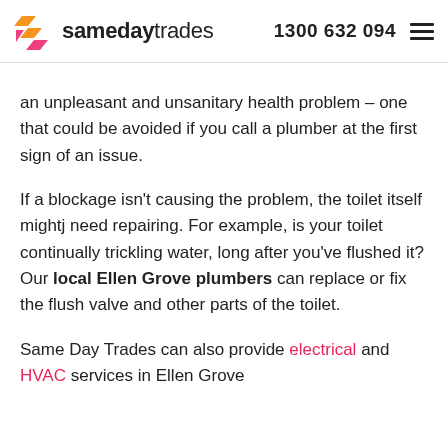samedaytrades  1300 632 094
an unpleasant and unsanitary health problem – one that could be avoided if you call a plumber at the first sign of an issue.
If a blockage isn't causing the problem, the toilet itself mightj need repairing. For example, is your toilet continually trickling water, long after you've flushed it? Our local Ellen Grove plumbers can replace or fix the flush valve and other parts of the toilet.
Same Day Trades can also provide electrical and HVAC services in Ellen Grove